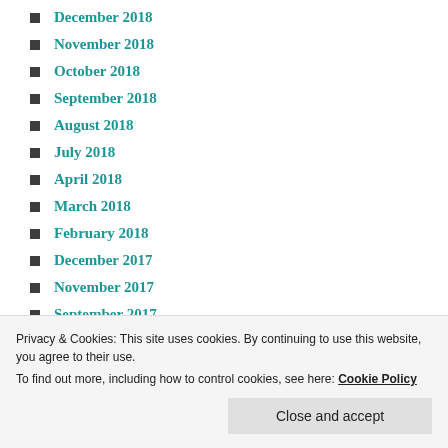December 2018
November 2018
October 2018
September 2018
August 2018
July 2018
April 2018
March 2018
February 2018
December 2017
November 2017
September 2017
February 2017
December 2016
Privacy & Cookies: This site uses cookies. By continuing to use this website, you agree to their use. To find out more, including how to control cookies, see here: Cookie Policy
Close and accept